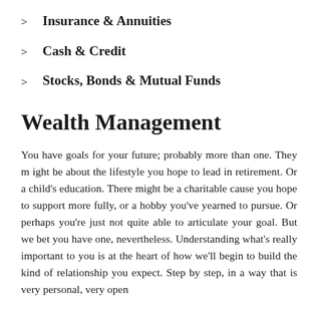Insurance & Annuities
Cash & Credit
Stocks, Bonds & Mutual Funds
Wealth Management
You have goals for your future; probably more than one. They might be about the lifestyle you hope to lead in retirement. Or a child's education. There might be a charitable cause you hope to support more fully, or a hobby you've yearned to pursue. Or perhaps you're just not quite able to articulate your goal. But we bet you have one, nevertheless. Understanding what's really important to you is at the heart of how we'll begin to build the kind of relationship you expect. Step by step, in a way that is very personal, very open